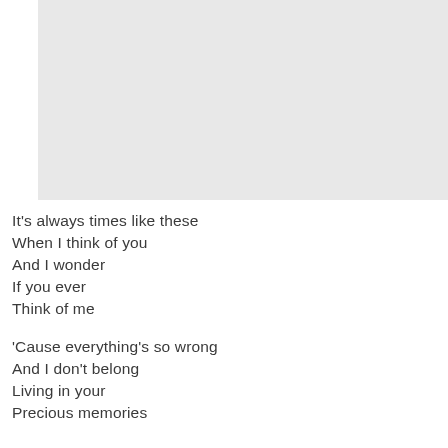[Figure (photo): Large light grey rectangular image placeholder at the top of the page]
It's always times like these
When I think of you
And I wonder
If you ever
Think of me
'Cause everything's so wrong
And I don't belong
Living in your
Precious memories